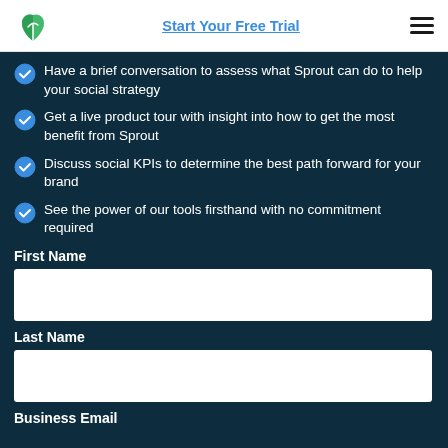Start Your Free Trial
Have a brief conversation to assess what Sprout can do to help your social strategy
Get a live product tour with insight into how to get the most benefit from Sprout
Discuss social KPIs to determine the best path forward for your brand
See the power of our tools firsthand with no commitment required
First Name
Last Name
Business Email